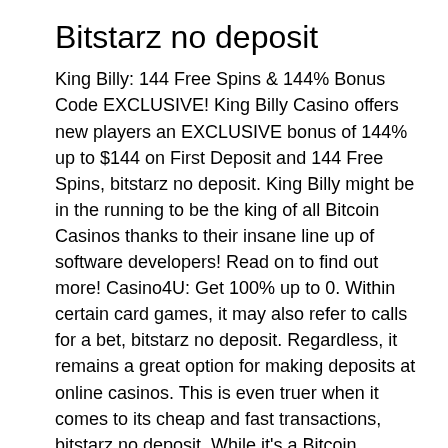Bitstarz no deposit
King Billy: 144 Free Spins & 144% Bonus Code EXCLUSIVE! King Billy Casino offers new players an EXCLUSIVE bonus of 144% up to $144 on First Deposit and 144 Free Spins, bitstarz no deposit. King Billy might be in the running to be the king of all Bitcoin Casinos thanks to their insane line up of software developers! Read on to find out more! Casino4U: Get 100% up to 0. Within certain card games, it may also refer to calls for a bet, bitstarz no deposit. Regardless, it remains a great option for making deposits at online casinos. This is even truer when it comes to its cheap and fast transactions, bitstarz no deposit. While it's a Bitcoin offshoot, it shares the same basic principles as its (sort of) namesake. Bitcoin Cash was developed as a way of overcoming the shortcomings of Bitcoin.